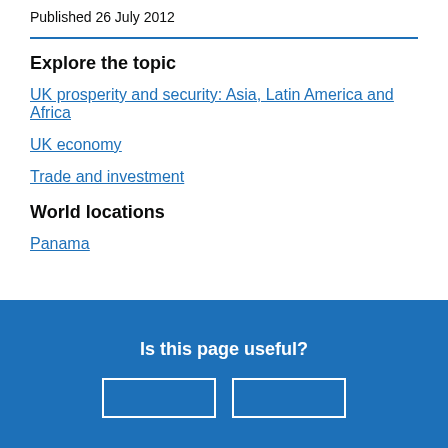Published 26 July 2012
Explore the topic
UK prosperity and security: Asia, Latin America and Africa
UK economy
Trade and investment
World locations
Panama
Is this page useful?